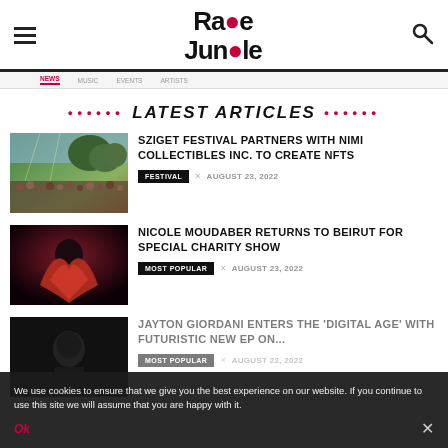Rave Jungle
LATEST ARTICLES
[Figure (photo): Festival crowd at outdoor music festival with trees and stage lighting]
SZIGET FESTIVAL PARTNERS WITH NIMI COLLECTIBLES INC. TO CREATE NFTS
FESTIVAL × AUGUST 23, 2022
[Figure (photo): Nicole Moudaber portrait with dramatic red fabric]
NICOLE MOUDABER RETURNS TO BEIRUT FOR SPECIAL CHARITY SHOW
MOST POPULAR × AUGUST 23, 2022
[Figure (photo): Jayton Giordani artist photo dark background]
JAYTON GIORDANI ENTERS THE 'DIGITAL AGE' WITH FUTURISTIC NEW EP ON...
MOST POPULAR × AUGUST 22, 2022
We use cookies to ensure that we give you the best experience on our website. If you continue to use this site we will assume that you are happy with it.